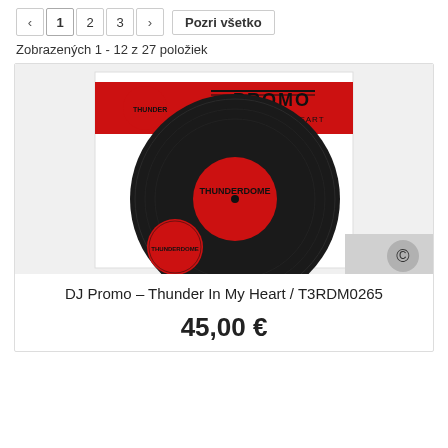< 1 2 3 > Pozri všetko
Zobrazených 1 - 12 z 27 položiek
[Figure (photo): Vinyl record product photo showing a black vinyl record with red Thunderdome label and a red promo band saying 'PROMO - THUNDER IN MY HEART', along with a smaller red circular sticker with Thunderdome branding.]
DJ Promo – Thunder In My Heart / T3RDM0265
45,00 €